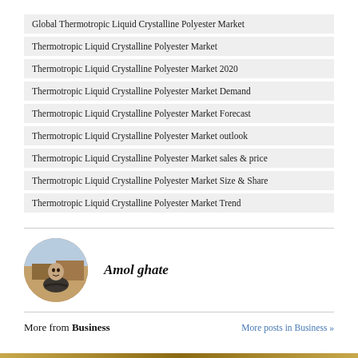Global Thermotropic Liquid Crystalline Polyester Market
Thermotropic Liquid Crystalline Polyester Market
Thermotropic Liquid Crystalline Polyester Market 2020
Thermotropic Liquid Crystalline Polyester Market Demand
Thermotropic Liquid Crystalline Polyester Market Forecast
Thermotropic Liquid Crystalline Polyester Market outlook
Thermotropic Liquid Crystalline Polyester Market sales & price
Thermotropic Liquid Crystalline Polyester Market Size & Share
Thermotropic Liquid Crystalline Polyester Market Trend
[Figure (photo): Circular profile photo of Amol ghate, a man with arms crossed in an outdoor/farm setting]
Amol ghate
More from Business
More posts in Business »